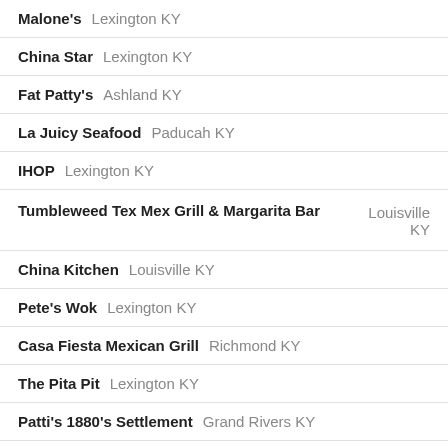Malone's   Lexington KY
China Star   Lexington KY
Fat Patty's   Ashland KY
La Juicy Seafood   Paducah KY
IHOP   Lexington KY
Tumbleweed Tex Mex Grill & Margarita Bar   Louisville KY
China Kitchen   Louisville KY
Pete's Wok   Lexington KY
Casa Fiesta Mexican Grill   Richmond KY
The Pita Pit   Lexington KY
Patti's 1880's Settlement   Grand Rivers KY